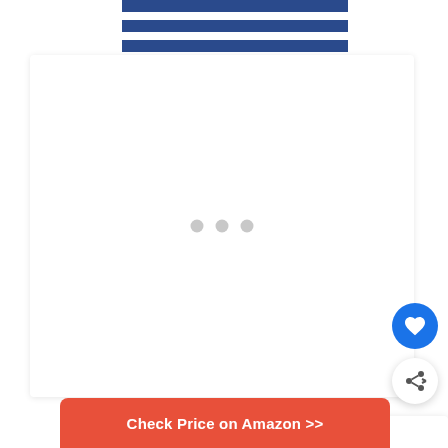[Figure (photo): Top portion of a navy blue and white striped lunch bag/box product photo on white background]
[Figure (other): White content loading area with three gray dots indicating loading spinner]
[Figure (other): Blue circular heart/save button icon]
[Figure (other): White circular share button with share icon]
[Figure (other): What's Next panel showing thumbnail image and text: WHAT'S NEXT → 14 Best Lunch Boxes That ...]
Check Price on Amazon >>